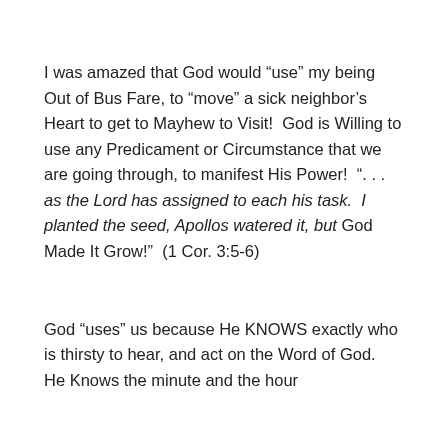I was amazed that God would “use” my being Out of Bus Fare, to “move” a sick neighbor’s Heart to get to Mayhew to Visit!  God is Willing to use any Predicament or Circumstance that we are going through, to manifest His Power!  “. . . as the Lord has assigned to each his task.  I planted the seed, Apollos watered it, but God Made It Grow!”  (1 Cor. 3:5-6)
God “uses” us because He KNOWS exactly who is thirsty to hear, and act on the Word of God.  He Knows the minute and the hour